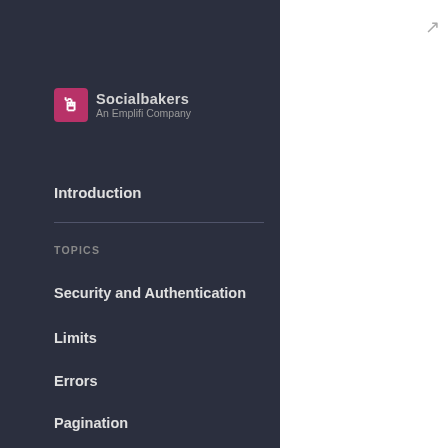[Figure (logo): Socialbakers An Emplifi Company logo - pink square icon with cursor symbol and text]
Introduction
TOPICS
Security and Authentication
Limits
Errors
Pagination
Reference Data
List of Connected Profiles
This document refers to an outdated version of Socialbakers API. Please use the latest version.
2019/
ne Go da stu co
2019/
so of Tw